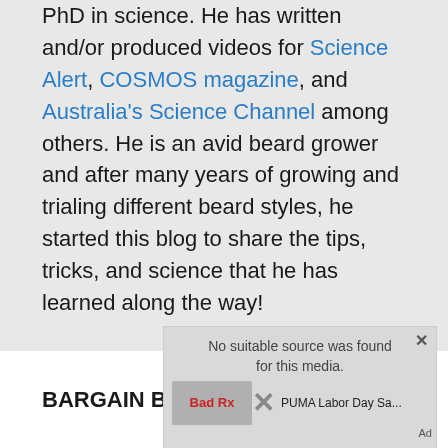PhD in science. He has written and/or produced videos for Science Alert, COSMOS magazine, and Australia's Science Channel among others. He is an avid beard grower and after many years of growing and trialing different beard styles, he started this blog to share the tips, tricks, and science that he has learned along the way!
BARGAIN Beard Products
[Figure (other): Advertisement overlay showing 'No suitable source was found for this media' message with a Bad Rx logo, an X close button, and PUMA Labor Day Sale text with Ad label]